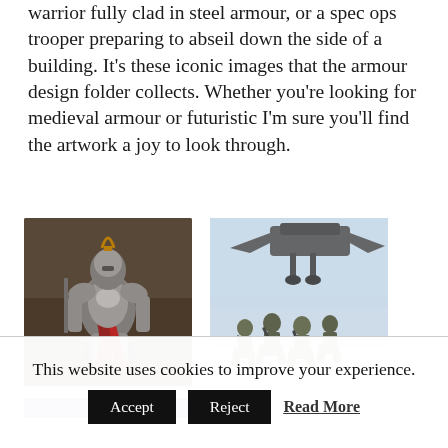warrior fully clad in steel armour, or a spec ops trooper preparing to abseil down the side of a building. It's these iconic images that the armour design folder collects. Whether you're looking for medieval armour or futuristic I'm sure you'll find the artwork a joy to look through.
[Figure (illustration): A medieval armoured warrior in steel plate armour with red cloth, standing in a dramatic pose in a dark environment.]
[Figure (illustration): Futuristic sci-fi soldiers in armour running through a snowy landscape with a large mechanical walker/spacecraft above them.]
This website uses cookies to improve your experience.